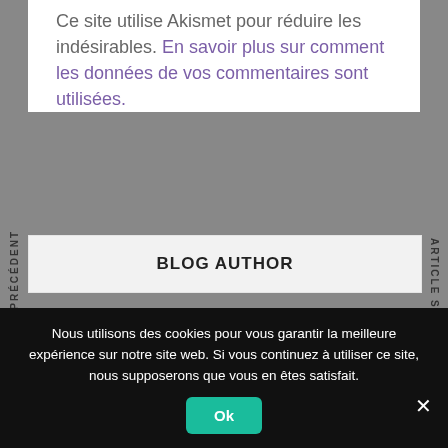Ce site utilise Akismet pour réduire les indésirables. En savoir plus sur comment les données de vos commentaires sont utilisées.
ARTICLE PRÉCÉDENT
ARTICLE SUIVANT
BLOG AUTHOR
[Figure (photo): Circular profile photo of a person wearing glasses, partially visible at bottom of content area]
Nous utilisons des cookies pour vous garantir la meilleure expérience sur notre site web. Si vous continuez à utiliser ce site, nous supposerons que vous en êtes satisfait.